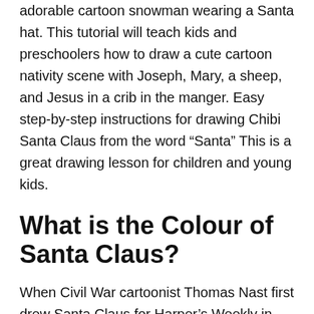adorable cartoon snowman wearing a Santa hat. This tutorial will teach kids and preschoolers how to draw a cute cartoon nativity scene with Joseph, Mary, a sheep, and Jesus in a crib in the manger. Easy step-by-step instructions for drawing Chibi Santa Claus from the word “Santa” This is a great drawing lesson for children and young kids.
What is the Colour of Santa Claus?
When Civil War cartoonist Thomas Nast first drew Santa Claus for Harper’s Weekly in 1862, he was a small elflike figure who supported the Union; Nast continued to draw Santa for another 30 years, changing the color of his coat from tan to the red